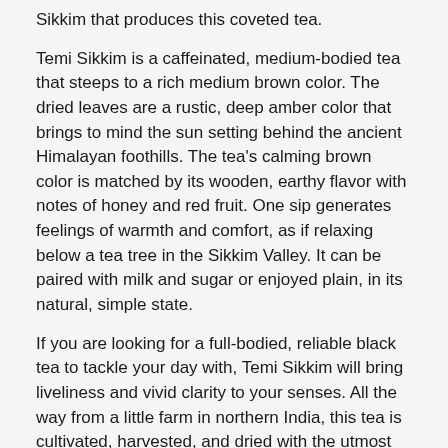Sikkim that produces this coveted tea.
Temi Sikkim is a caffeinated, medium-bodied tea that steeps to a rich medium brown color. The dried leaves are a rustic, deep amber color that brings to mind the sun setting behind the ancient Himalayan foothills. The tea's calming brown color is matched by its wooden, earthy flavor with notes of honey and red fruit. One sip generates feelings of warmth and comfort, as if relaxing below a tea tree in the Sikkim Valley. It can be paired with milk and sugar or enjoyed plain, in its natural, simple state.
If you are looking for a full-bodied, reliable black tea to tackle your day with, Temi Sikkim will bring liveliness and vivid clarity to your senses. All the way from a little farm in northern India, this tea is cultivated, harvested, and dried with the utmost care, so that you deeply enjoy the brew.
Base leaf: Herbal/Fruit
Health properties: Anti-oxidant properties known
Flavor strength: Medium, clear. Primary collection is aromatic black, foothill sweetness in the finish.
[Figure (illustration): Green circular shopping bag icon button in the bottom right corner]